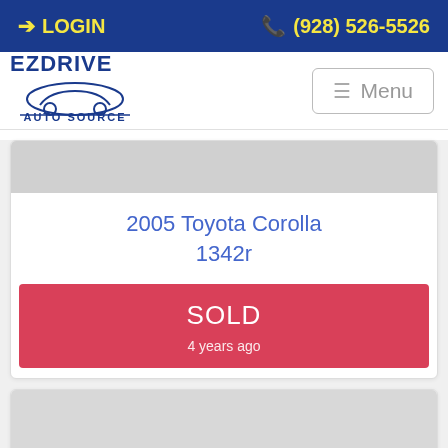LOGIN  (928) 526-5526
[Figure (logo): EZDrive Auto Source logo with car illustration]
Menu
[Figure (photo): Vehicle image placeholder (gray box)]
2005 Toyota Corolla 1342r
SOLD
4 years ago
[Figure (photo): Image Not Available placeholder]